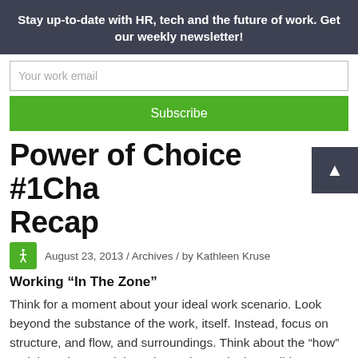Stay up-to-date with HR, tech and the future of work. Get our weekly newsletter!
Your work email
Subscribe
Power of Choice #1Cha Recap
August 23, 2013 / Archives / by Kathleen Kruse
Working “In The Zone”
Think for a moment about your ideal work scenario. Look beyond the substance of the work, itself. Instead, focus on structure, and flow, and surroundings. Think about the “how” and the “when” and the “where” that make it possible to perform well.
What does it feel like to operate in your most